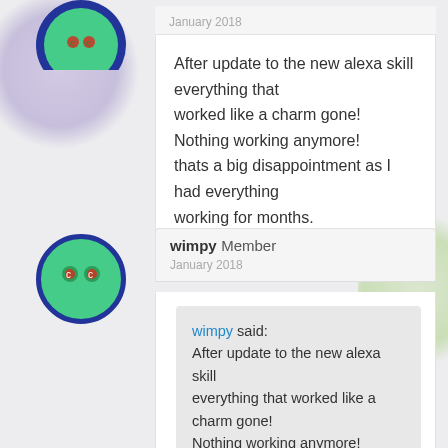January 2018
After update to the new alexa skill everything that worked like a charm gone!
Nothing working anymore!
thats a big disappointment as I had everything working for months.
[Figure (illustration): Circular avatar icon with dark blue border and green background, partially cut off at top]
wimpy Member
January 2018
[Figure (illustration): Circular avatar icon with dark blue border and green background showing a small face/emoji]
wimpy said:
After update to the new alexa skill everything that worked like a charm gone!
Nothing working anymore!
thats a big disappointment as I had everything working for months.